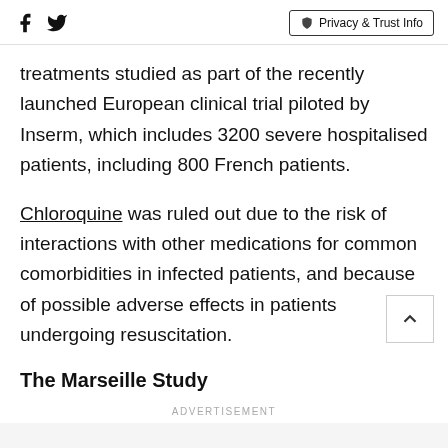Social icons (Facebook, Twitter) | Privacy & Trust Info
treatments studied as part of the recently launched European clinical trial piloted by Inserm, which includes 3200 severe hospitalised patients, including 800 French patients.
Chloroquine was ruled out due to the risk of interactions with other medications for common comorbidities in infected patients, and because of possible adverse effects in patients undergoing resuscitation.
The Marseille Study
ADVERTISEMENT